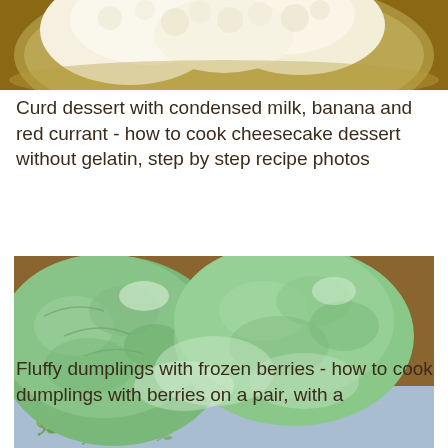[Figure (photo): Close-up photo of a bowl with white crumbly curd/cottage cheese mixture]
Curd dessert with condensed milk, banana and red currant - how to cook cheesecake dessert without gelatin, step by step recipe photos
[Figure (photo): Close-up photo of fluffy green dumplings with berries on a blue patterned cloth]
Fluffy dumplings with frozen berries - how to cook dumplings with berries on a pair, with a